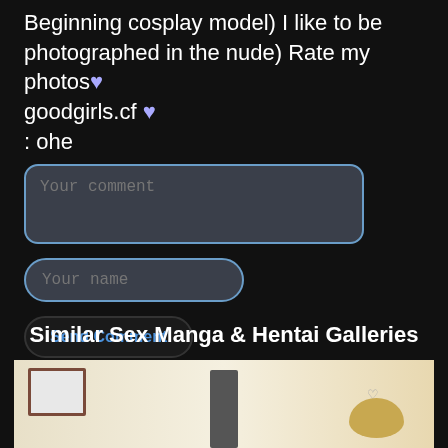Beginning cosplay model) I like to be photographed in the nude) Rate my photos♥ goodgirls.cf ♥ : ohe
Your comment [input field]
Your name [input field]
Send Comment [button]
Similar Sex Manga & Hentai Galleries
[Figure (illustration): Anime/manga style illustration showing an indoor scene with a door, framed picture on wall, and a character with golden/blonde hair visible at bottom right]